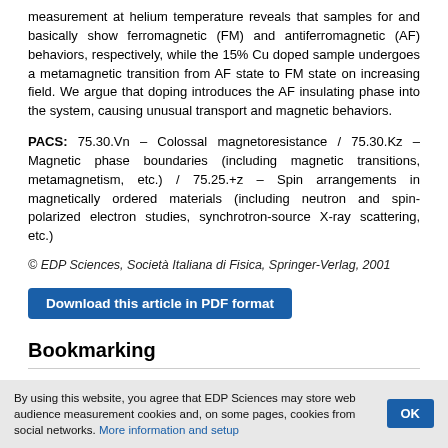measurement at helium temperature reveals that samples for and basically show ferromagnetic (FM) and antiferromagnetic (AF) behaviors, respectively, while the 15% Cu doped sample undergoes a metamagnetic transition from AF state to FM state on increasing field. We argue that doping introduces the AF insulating phase into the system, causing unusual transport and magnetic behaviors.
PACS: 75.30.Vn – Colossal magnetoresistance / 75.30.Kz – Magnetic phase boundaries (including magnetic transitions, metamagnetism, etc.) / 75.25.+z – Spin arrangements in magnetically ordered materials (including neutron and spin-polarized electron studies, synchrotron-source X-ray scattering, etc.)
© EDP Sciences, Società Italiana di Fisica, Springer-Verlag, 2001
[Figure (other): Blue download button labeled 'Download this article in PDF format']
Bookmarking
By using this website, you agree that EDP Sciences may store web audience measurement cookies and, on some pages, cookies from social networks. More information and setup